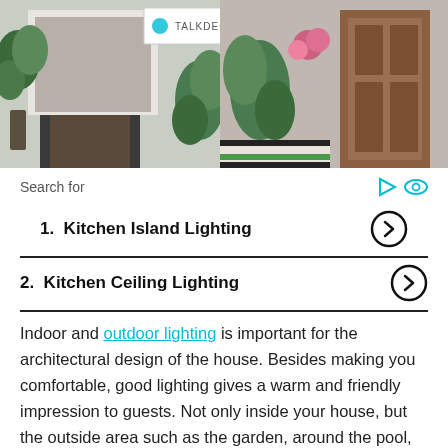[Figure (photo): Composite photo of house entrances with plants, doors, and welcome mats. A 'TALKDECOR' logo overlay is visible in the center.]
Search for
1. Kitchen Island Lighting
2. Kitchen Ceiling Lighting
Indoor and outdoor lighting is important for the architectural design of the house. Besides making you comfortable, good lighting gives a warm and friendly impression to guests. Not only inside your house, but the outside area such as the garden, around the pool, and the terrace also needs proper lighting. To make the environment more enjoyable,